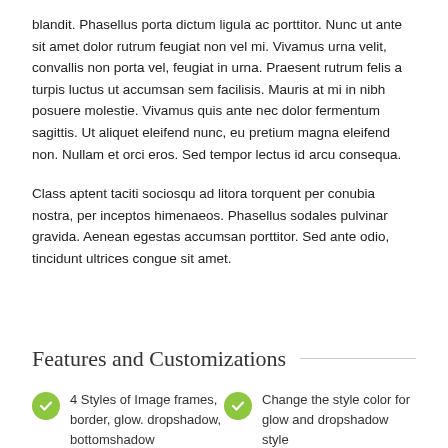blandit. Phasellus porta dictum ligula ac porttitor. Nunc ut ante sit amet dolor rutrum feugiat non vel mi. Vivamus urna velit, convallis non porta vel, feugiat in urna. Praesent rutrum felis a turpis luctus ut accumsan sem facilisis. Mauris at mi in nibh posuere molestie. Vivamus quis ante nec dolor fermentum sagittis. Ut aliquet eleifend nunc, eu pretium magna eleifend non. Nullam et orci eros. Sed tempor lectus id arcu consequa.
Class aptent taciti sociosqu ad litora torquent per conubia nostra, per inceptos himenaeos. Phasellus sodales pulvinar gravida. Aenean egestas accumsan porttitor. Sed ante odio, tincidunt ultrices congue sit amet.
Features and Customizations
4 Styles of Image frames, border, glow. dropshadow, bottomshadow
Change the style color for glow and dropshadow style
Use with column shortcodes